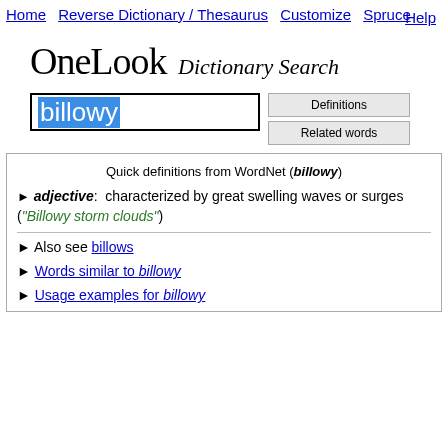Home   Reverse Dictionary / Thesaurus   Customize   Spruce   Help
OneLook Dictionary Search
billowy [search box with Definitions and Related words buttons]
Quick definitions from WordNet (billowy)
▶ adjective:  characterized by great swelling waves or surges ("Billowy storm clouds")
▶ Also see billows
▶ Words similar to billowy
▶ Usage examples for billowy